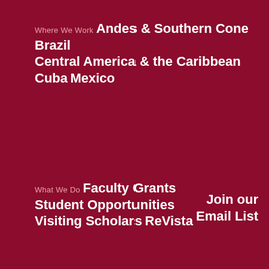Where We Work
Andes & Southern Cone
Brazil
Central America & the Caribbean
Cuba
Mexico
What We Do
Faculty Grants
Student Opportunities
Visiting Scholars
ReVista
Join our Email List